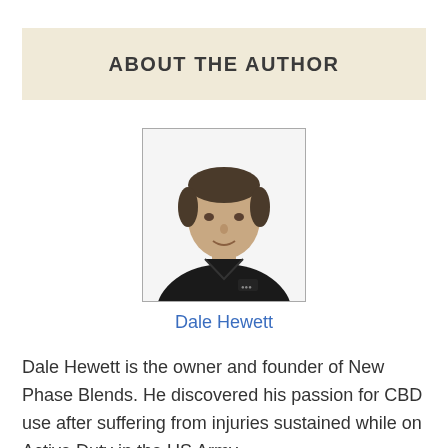ABOUT THE AUTHOR
[Figure (photo): Headshot photo of Dale Hewett, a man in a black polo shirt against a white background]
Dale Hewett
Dale Hewett is the owner and founder of New Phase Blends. He discovered his passion for CBD use after suffering from injuries sustained while on Active Duty in the US Army